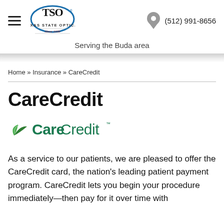[Figure (logo): TSO Texas State Optical logo with blue oval and 'Since 1936' tagline, hamburger menu icon to the left]
[Figure (other): Gray map pin icon with phone number (512) 991-8656]
Serving the Buda area
Home » Insurance » CareCredit
CareCredit
[Figure (logo): CareCredit logo with green leaf/wing icon and 'CareCredit' text with trademark symbol]
As a service to our patients, we are pleased to offer the CareCredit card, the nation's leading patient payment program. CareCredit lets you begin your procedure immediately—then pay for it over time with